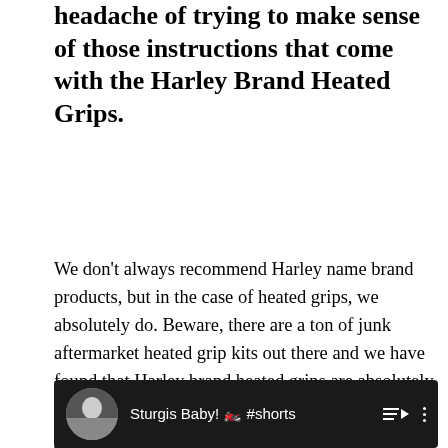headache of trying to make sense of those instructions that come with the Harley Brand Heated Grips.
We don't always recommend Harley name brand products, but in the case of heated grips, we absolutely do. Beware, there are a ton of junk aftermarket heated grip kits out there and we have found that Harley brand heated grips are absolutely the best when it comes to functionality and keeping your hands warm with plenty of adjustment.
[Figure (screenshot): YouTube video thumbnail showing 'Sturgis Baby! 🏍️ #shorts' with a profile avatar of a person wearing a hat, playlist icon, and vertical dots menu icon on a dark background.]